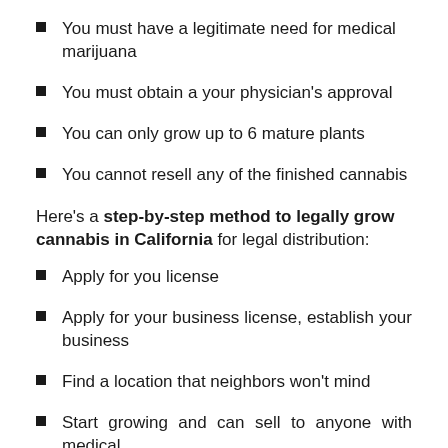You must have a legitimate need for medical marijuana
You must obtain a your physician's approval
You can only grow up to 6 mature plants
You cannot resell any of the finished cannabis
Here's a step-by-step method to legally grow cannabis in California for legal distribution:
Apply for you license
Apply for your business license, establish your business
Find a location that neighbors won't mind
Start growing and can sell to anyone with medical